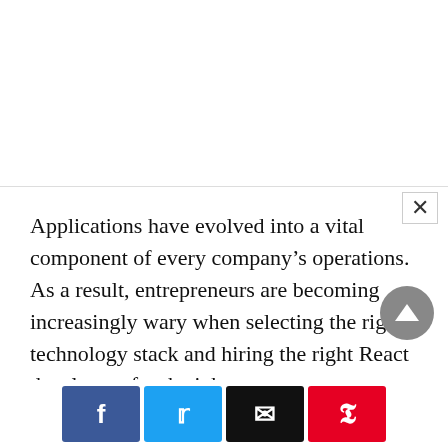Applications have evolved into a vital component of every company’s operations. As a result, entrepreneurs are becoming increasingly wary when selecting the right technology stack and hiring the right React developers for the job.
If you’re a non-technical startup or SME, learning to select the correct team for your technical duties can be a huge benefit. However, selecting the correct tech stack can be difficult with so many programming languages